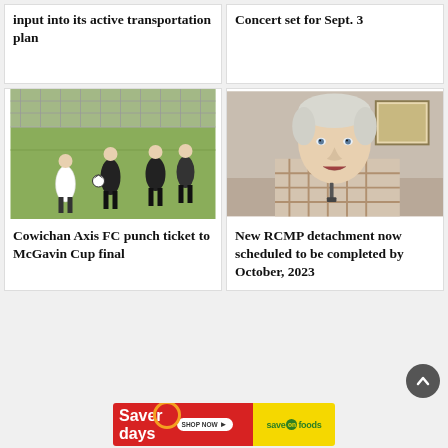input into its active transportation plan
Concert set for Sept. 3
[Figure (photo): Soccer players on a green turf field, players in black and white uniforms]
Cowichan Axis FC punch ticket to McGavin Cup final
[Figure (photo): Middle-aged man with white/grey hair speaking, wearing a plaid shirt]
New RCMP detachment now scheduled to be completed by October, 2023
[Figure (infographic): Saver Days - Save On Foods advertisement banner with red and yellow sections, Shop Now button]